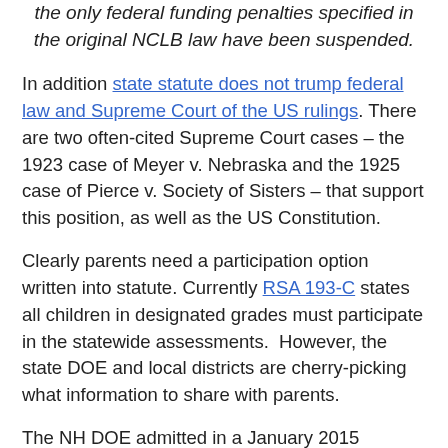the only federal funding penalties specified in the original NCLB law have been suspended.
In addition state statute does not trump federal law and Supreme Court of the US rulings. There are two often-cited Supreme Court cases – the 1923 case of Meyer v. Nebraska and the 1925 case of Pierce v. Society of Sisters – that support this position, as well as the US Constitution.
Clearly parents need a participation option written into statute. Currently RSA 193-C states all children in designated grades must participate in the statewide assessments.  However, the state DOE and local districts are cherry-picking what information to share with parents.
The NH DOE admitted in a January 2015 addendum to the 2014-2015 Statewide Assessment State Approved Special Considerations that parents have the right of refusal. This